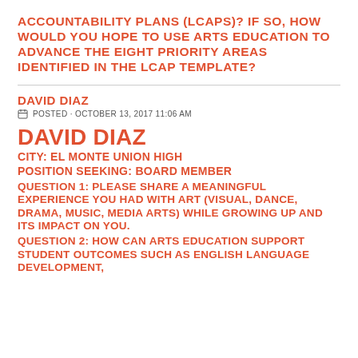ACCOUNTABILITY PLANS (LCAPS)? IF SO, HOW WOULD YOU HOPE TO USE ARTS EDUCATION TO ADVANCE THE EIGHT PRIORITY AREAS IDENTIFIED IN THE LCAP TEMPLATE?
DAVID DIAZ
POSTED · OCTOBER 13, 2017 11:06 AM
DAVID DIAZ
CITY: EL MONTE UNION HIGH
POSITION SEEKING: BOARD MEMBER
QUESTION 1: PLEASE SHARE A MEANINGFUL EXPERIENCE YOU HAD WITH ART (VISUAL, DANCE, DRAMA, MUSIC, MEDIA ARTS) WHILE GROWING UP AND ITS IMPACT ON YOU.
QUESTION 2: HOW CAN ARTS EDUCATION SUPPORT STUDENT OUTCOMES SUCH AS ENGLISH LANGUAGE DEVELOPMENT,